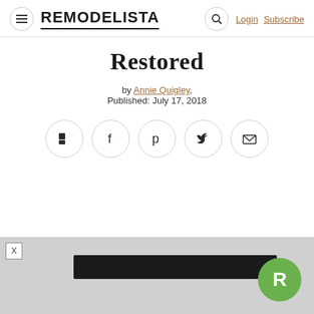REMODELISTA | Login | Subscribe
Restored
by Annie Quigley,
Published: July 17, 2018
[Figure (infographic): Social sharing buttons: Flipboard, Facebook, Pinterest, Twitter, Email]
[Figure (screenshot): Advertisement strip with X close button and black banner graphic, plus Remodelista green R logo circle in bottom right]